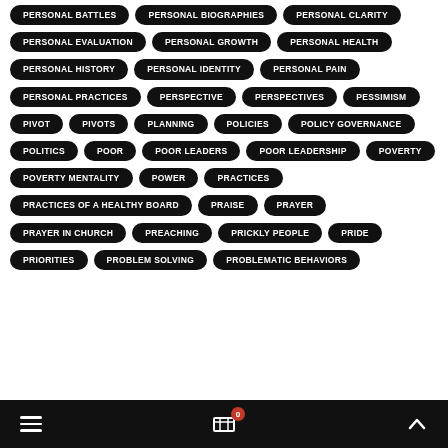PERSONAL BATTLES
PERSONAL BIOGRAPHIES
PERSONAL CLARITY
PERSONAL EVALUATION
PERSONAL GROWTH
PERSONAL HEALTH
PERSONAL HISTORY
PERSONAL IDENTITY
PERSONAL PAIN
PERSONAL PRACTICES
PERSPECTIVE
PERSPECTIVES
PESSIMISM
PIVOT
PIVOTS
PLANNING
POLICIES
POLICY GOVERNANCE
POLITICS
POOR
POOR LEADERS
POOR LEADERSHIP
POVERTY
POVERTY MENTALITY
POWER
PRACTICES
PRACTICES OF A HEALTHY BOARD
PRAISE
PRAYER
PRAYER IN CHURCH
PREACHING
PRICKLY PEOPLE
PRIDE
PRIORITIES
PROBLEM SOLVING
PROBLEMATIC BEHAVIORS
≡  0  ∧